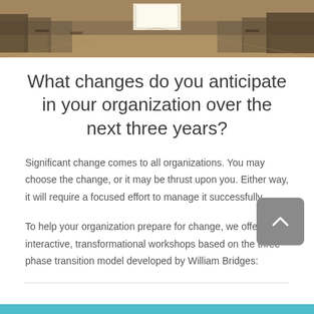[Figure (photo): Classroom scene viewed from the front, showing rows of students seated at desks, with a bright window at the far end]
What changes do you anticipate in your organization over the next three years?
Significant change comes to all organizations. You may choose the change, or it may be thrust upon you. Either way, it will require a focused effort to manage it successfully.
To help your organization prepare for change, we offer two interactive, transformational workshops based on the three-phase transition model developed by William Bridges: